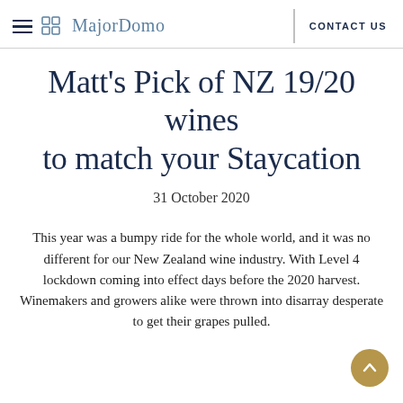MajorDomo  CONTACT US
Matt's Pick of NZ 19/20 wines to match your Staycation
31 October 2020
This year was a bumpy ride for the whole world, and it was no different for our New Zealand wine industry. With Level 4 lockdown coming into effect days before the 2020 harvest. Winemakers and growers alike were thrown into disarray desperate to get their grapes pulled.